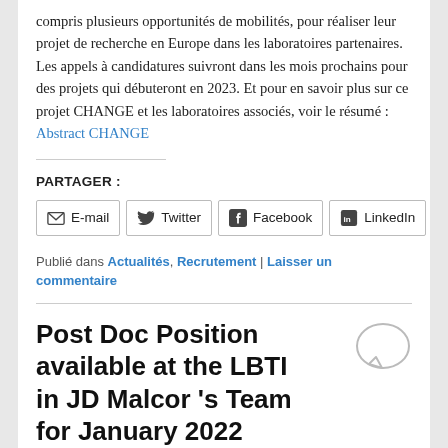compris plusieurs opportunités de mobilités, pour réaliser leur projet de recherche en Europe dans les laboratoires partenaires. Les appels à candidatures suivront dans les mois prochains pour des projets qui débuteront en 2023. Et pour en savoir plus sur ce projet CHANGE et les laboratoires associés, voir le résumé : Abstract CHANGE
PARTAGER :
E-mail  Twitter  Facebook  LinkedIn
Publié dans Actualités, Recrutement | Laisser un commentaire
Post Doc Position available at the LBTI in JD Malcor 's Team for January 2022